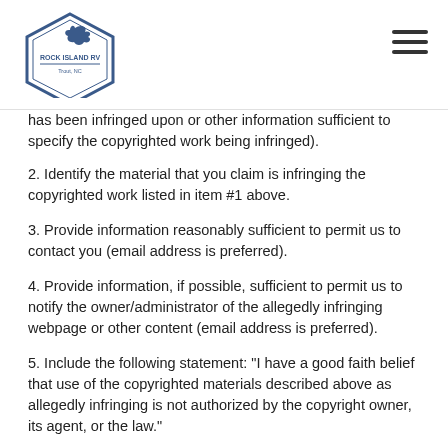Rock Island RV - Trout, NC
has been infringed upon or other information sufficient to specify the copyrighted work being infringed).
2. Identify the material that you claim is infringing the copyrighted work listed in item #1 above.
3. Provide information reasonably sufficient to permit us to contact you (email address is preferred).
4. Provide information, if possible, sufficient to permit us to notify the owner/administrator of the allegedly infringing webpage or other content (email address is preferred).
5. Include the following statement: "I have a good faith belief that use of the copyrighted materials described above as allegedly infringing is not authorized by the copyright owner, its agent, or the law."
6. Include the following statement: "I swear, under penalty of perjury, that the information in the notification is accurate and that I am the copyright owner or am authorized to act on behalf of the owner of an exclusive right that is allegedly infringed."
7. Sign the paper.